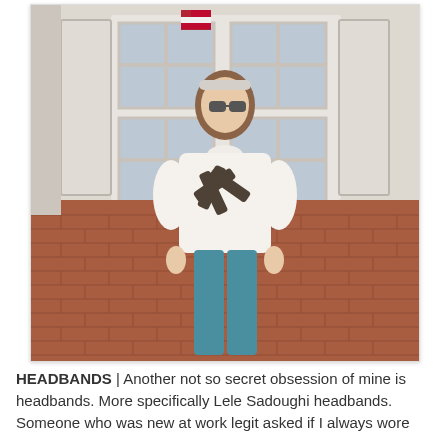[Figure (photo): A young girl standing in front of a brick building with white-framed windows. She is wearing a white blouse with a dark ribbon/bow detail, teal pants, and a light-colored headband. She is wearing sunglasses and smiling.]
HEADBANDS | Another not so secret obsession of mine is headbands. More specifically Lele Sadoughi headbands. Someone who was new at work legit asked if I always wore